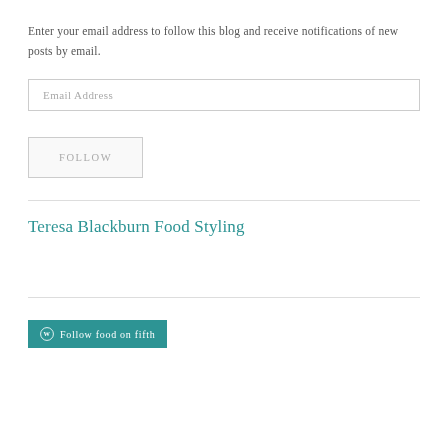Enter your email address to follow this blog and receive notifications of new posts by email.
Email Address
FOLLOW
Teresa Blackburn Food Styling
Follow food on fifth